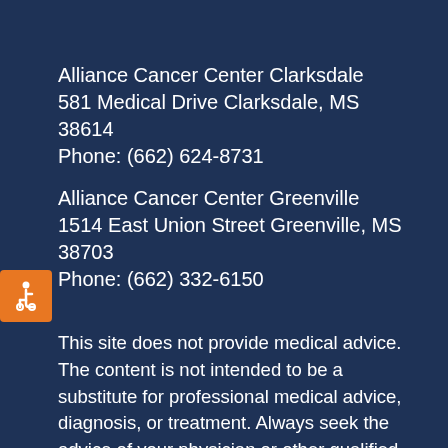Alliance Cancer Center Clarksdale
581 Medical Drive Clarksdale, MS 38614
Phone: (662) 624-8731
Alliance Cancer Center Greenville
1514 East Union Street Greenville, MS 38703
Phone: (662) 332-6150
This site does not provide medical advice. The content is not intended to be a substitute for professional medical advice, diagnosis, or treatment. Always seek the advice of your physician or other qualified health provider with any questions you may have regarding a medical condition.